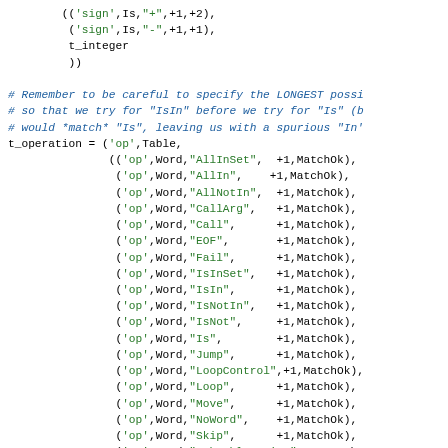Code snippet showing Python/pseudo-code table definitions for sign and operation tokens including t_integer, t_operation with various Word operations like AllInSet, AllIn, AllNotIn, CallArg, Call, EOF, Fail, IsInSet, IsIn, IsNotIn, IsNot, Is, Jump, LoopControl, Loop, Move, NoWord, Skip, SubTableInList, SubTable, sFindWord.